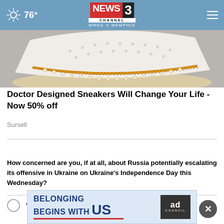NEWS3 CHANNEL WREG MEMPHIS · 76°
[Figure (photo): Close-up of a white perforated sneaker with tan/gold stitching and sole]
Doctor Designed Sneakers Will Change Your Life - Now 50% off
Sursell
WHAT DO YOU THINK?
How concerned are you, if at all, about Russia potentially escalating its offensive in Ukraine on Ukraine's Independence Day this Wednesday?
Very concerned
[Figure (infographic): Banner ad: BELONGING BEGINS WITH US – Ad Council logo]